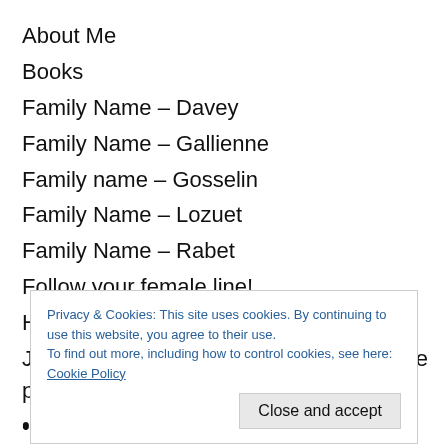About Me
Books
Family Name – Davey
Family Name – Gallienne
Family name – Gosselin
Family Name – Lozuet
Family Name – Rabet
Follow your female line!
Hatched, matched & dispatched
Jobs, Occupations and Professions of the past
• Agricultural and Farm Labourer
Privacy & Cookies: This site uses cookies. By continuing to use this website, you agree to their use.
To find out more, including how to control cookies, see here: Cookie Policy
• Taverner & Victuallers